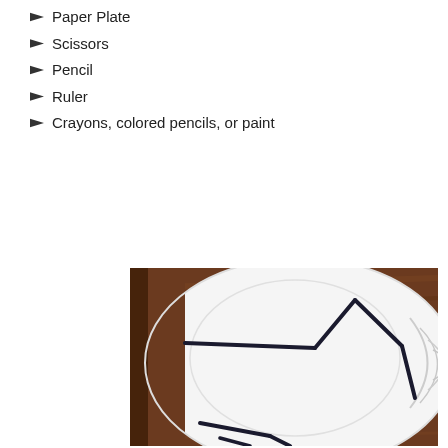Paper Plate
Scissors
Pencil
Ruler
Crayons, colored pencils, or paint
[Figure (photo): A white paper plate on a wooden table surface, with black marker lines drawn on it forming a geometric pattern — a triangle-like shape with angular lines.]